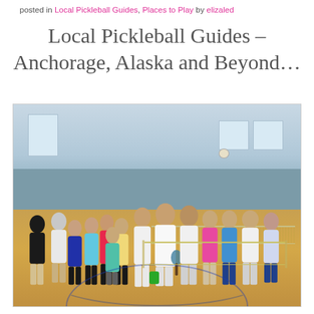posted in Local Pickleball Guides, Places to Play by elizaled
Local Pickleball Guides – Anchorage, Alaska and Beyond…
[Figure (photo): Group photo of approximately 20 pickleball players standing together on an indoor gymnasium court, holding paddles and bags, with a wood floor, blue/teal painted walls, and natural light from windows.]